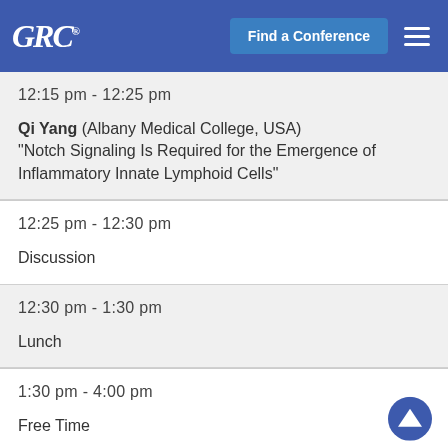GRC Find a Conference
12:15 pm - 12:25 pm
Qi Yang (Albany Medical College, USA)
"Notch Signaling Is Required for the Emergence of Inflammatory Innate Lymphoid Cells"
12:25 pm - 12:30 pm
Discussion
12:30 pm - 1:30 pm
Lunch
1:30 pm - 4:00 pm
Free Time